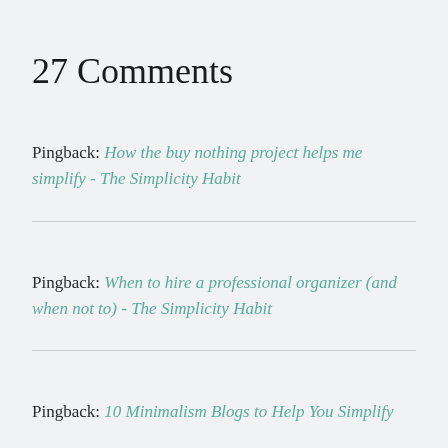27 Comments
Pingback: How the buy nothing project helps me simplify - The Simplicity Habit
Pingback: When to hire a professional organizer (and when not to) - The Simplicity Habit
Pingback: 10 Minimalism Blogs to Help You Simplify